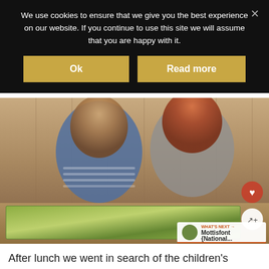We use cookies to ensure that we give you the best experience on our website. If you continue to use this site we will assume that you are happy with it.
Ok
Read more
[Figure (photo): Two young children, a boy in a striped blue and white sweater and a girl with red hair in a grey hoodie, sitting at a wooden table looking at a map/leaflet. There is a wooden backdrop behind them.]
WHAT'S NEXT → Mottisfont {National...
After lunch we went in search of the children's